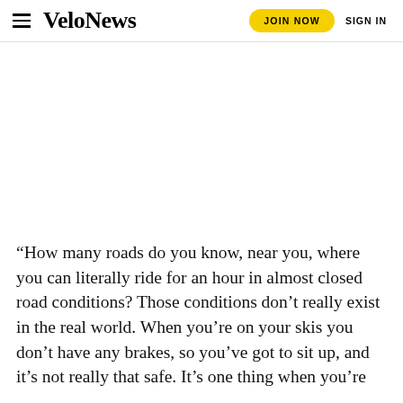VeloNews | JOIN NOW | SIGN IN
“How many roads do you know, near you, where you can literally ride for an hour in almost closed road conditions? Those conditions don’t really exist in the real world. When you’re on your skis you don’t have any brakes, so you’ve got to sit up, and it’s not really that safe. It’s one thing when you’re